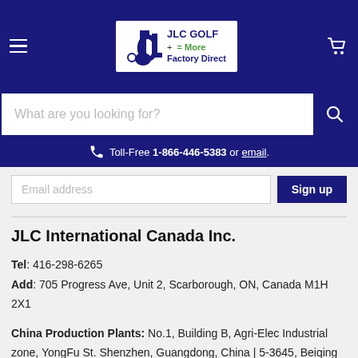JLC GOLF + = More Factory Direct
What are you looking for?
Toll-Free 1-866-446-5383 or email.
Email address  Sign up
JLC International Canada Inc.
Tel: 416-298-6265
Add: 705 Progress Ave, Unit 2, Scarborough, ON, Canada M1H 2X1
China Production Plants: No.1, Building B, Agri-Elec Industrial zone, YongFu St. Shenzhen, Guangdong, China | 5-3645, Beiqing Rd. Fengxi Songsan, QingPu, Shanghai, China